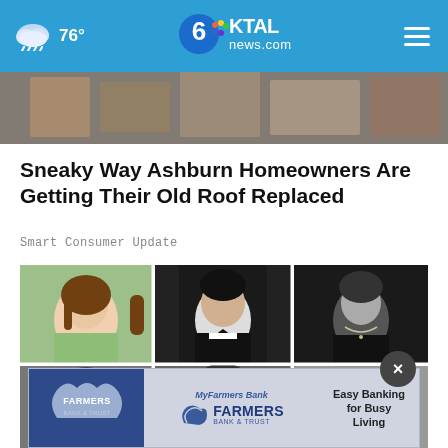76° KTAL news.com
[Figure (photo): Hero image showing papers and documents on a desk, partially visible at top]
Sneaky Way Ashburn Homeowners Are Getting Their Old Roof Replaced
Smart Consumer Update
[Figure (photo): Grid of 6 black-and-white portrait photos: top row shows a young woman in green sweater, man in tuxedo, person in dark top with necklace; bottom row shows a woman with styled hair, a young man, and a man with glasses]
[Figure (other): Advertisement banner for Farmers Bank & Trust: MyFarmers Bank FARMERS BANK & TRUST — Easy Banking for Busy Living]